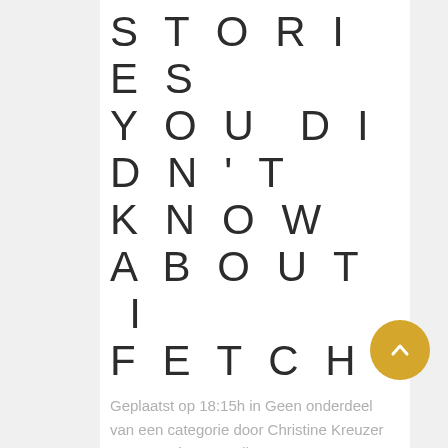STORIES YOU DIDN'T KNOW ABOUT I FETCH
Geplaatst op 18:15h in Geen onderdeel van een categorie door Christine Kreuzer · 0 Reactie's · 0 Likes ·
The GoDogGo Fetch Machine is meant to be GoDogGo's smoothest working product. Efficient at throwing - If you happen to're buying a guide canine ball